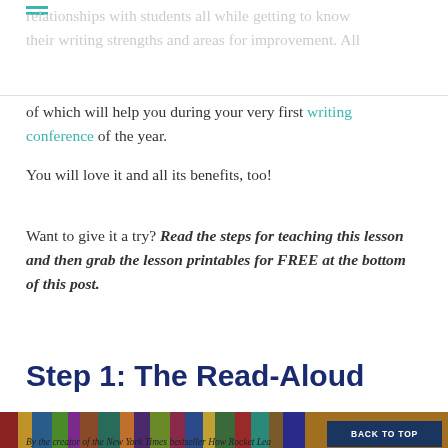relationships with students all while getting to know their writing strengths and areas for improvement. All of which will help you during your very first writing conference of the year.
You will love it and all its benefits, too!
Want to give it a try? Read the steps for teaching this lesson and then grab the lesson printables for FREE at the bottom of this post.
Step 1: The Read-Aloud
[Figure (photo): Photo showing a book being held open. Text visible on the book reads 'By the creator of the New York Times bestseller How Rocket Lea...' with a bookshelf of colorful books in the background. A 'BACK TO TOP' button overlay appears in the bottom right of the image.]